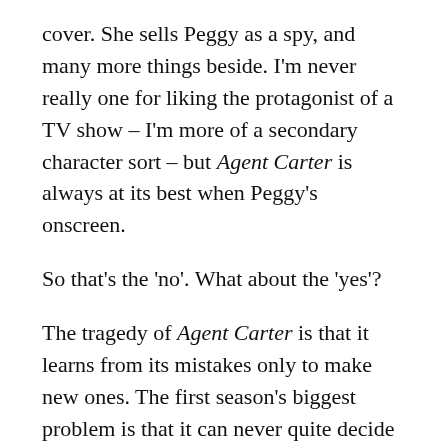cover. She sells Peggy as a spy, and many more things beside. I'm never really one for liking the protagonist of a TV show – I'm more of a secondary character sort – but Agent Carter is always at its best when Peggy's onscreen.
So that's the 'no'. What about the 'yes'?
The tragedy of Agent Carter is that it learns from its mistakes only to make new ones. The first season's biggest problem is that it can never quite decide what kind of show it wants to be. Sure, there are plenty of Howard Stark's science gizmos in play, and the antagonist has